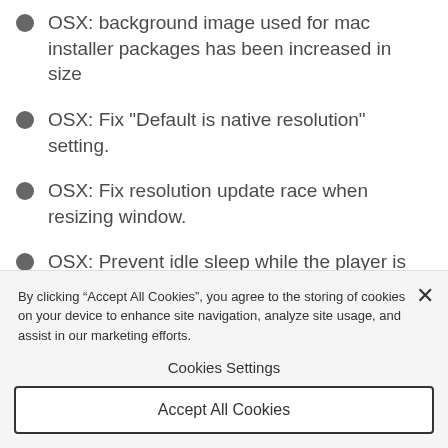OSX: background image used for mac installer packages has been increased in size
OSX: Fix "Default is native resolution" setting.
OSX: Fix resolution update race when resizing window.
OSX: Prevent idle sleep while the player is active
By clicking “Accept All Cookies”, you agree to the storing of cookies on your device to enhance site navigation, analyze site usage, and assist in our marketing efforts.
Cookies Settings
Accept All Cookies